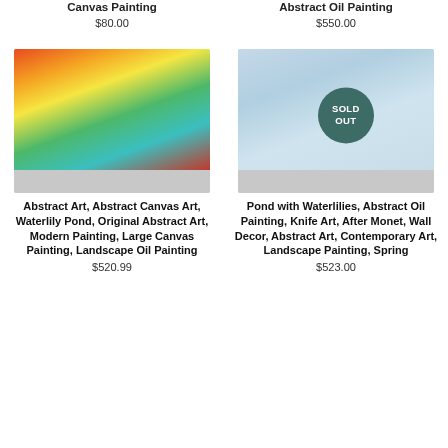Canvas Painting
$80.00
Abstract Oil Painting
$550.00
[Figure (photo): Abstract colorful canvas painting with textured brushstrokes in red, orange, yellow, teal, and green colors.]
[Figure (photo): Abstract oil painting of a pond with waterlilies in soft blue and teal tones, with a 'SOLD OUT' badge overlaid.]
Abstract Art, Abstract Canvas Art, Waterlily Pond, Original Abstract Art, Modern Painting, Large Canvas Painting, Landscape Oil Painting
$520.99
Pond with Waterlilies, Abstract Oil Painting, Knife Art, After Monet, Wall Decor, Abstract Art, Contemporary Art, Landscape Painting, Spring
$523.00